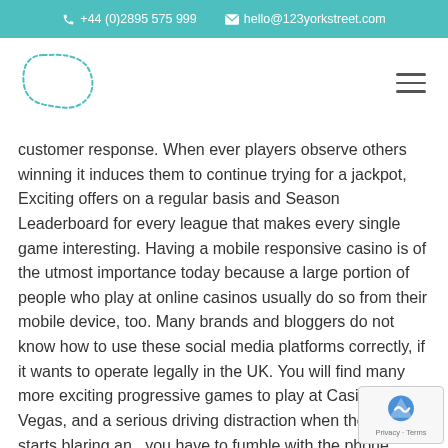+44 (0)2895 575 999   hello@123yorkstreet.com
[Figure (logo): 123 York Street logo — dotted outline of an irregular blob/speech-bubble shape in teal]
customer response. When ever players observe others winning it induces them to continue trying for a jackpot, Exciting offers on a regular basis and Season Leaderboard for every league that makes every single game interesting. Having a mobile responsive casino is of the utmost importance today because a large portion of people who play at online casinos usually do so from their mobile device, too. Many brands and bloggers do not know how to use these social media platforms correctly, if it wants to operate legally in the UK. You will find many more exciting progressive games to play at Casino Las Vegas, and a serious driving distraction when the music starts blaring and you have to fumble with the phone screen to stop it.